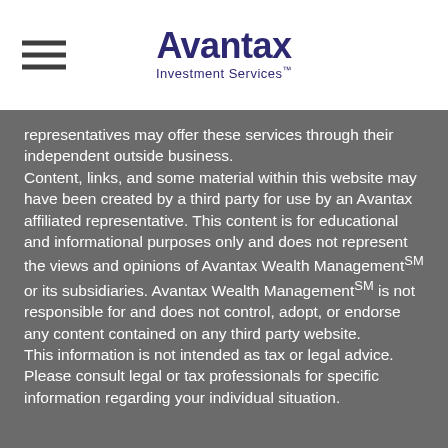[Figure (logo): Avantax Investment Services logo with hamburger menu icon on the left]
representatives may offer these services through their independent outside business.
Content, links, and some material within this website may have been created by a third party for use by an Avantax affiliated representative. This content is for educational and informational purposes only and does not represent the views and opinions of Avantax Wealth ManagementSM or its subsidiaries. Avantax Wealth ManagementSM is not responsible for and does not control, adopt, or endorse any content contained on any third party website.
This information is not intended as tax or legal advice. Please consult legal or tax professionals for specific information regarding your individual situation.